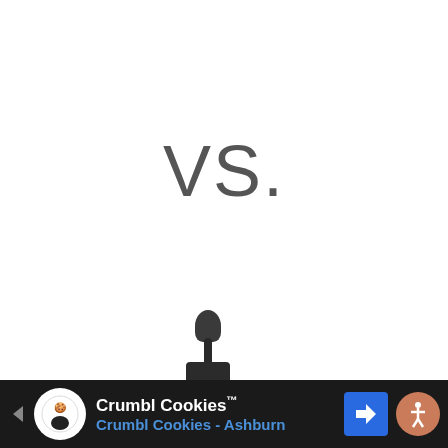VS.
[Figure (photo): Mad Hippie Vitamin C Serum product bottle with dropper top and yellow label]
[Figure (other): Advertisement bar for Crumbl Cookies - Ashburn with logo, navigation arrow icon, and accessibility icon]